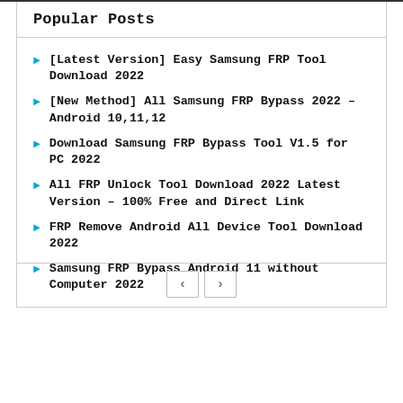Popular Posts
[Latest Version] Easy Samsung FRP Tool Download 2022
[New Method] All Samsung FRP Bypass 2022 – Android 10,11,12
Download Samsung FRP Bypass Tool V1.5 for PC 2022
All FRP Unlock Tool Download 2022 Latest Version – 100% Free and Direct Link
FRP Remove Android All Device Tool Download 2022
Samsung FRP Bypass Android 11 without Computer 2022